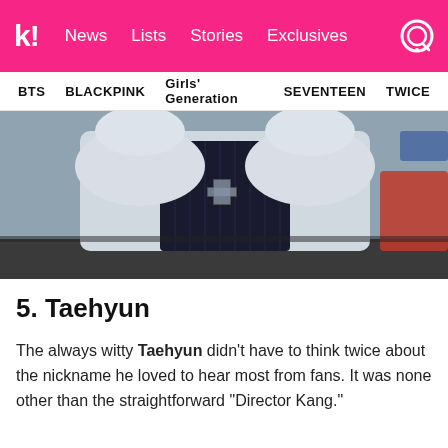k! News  Lists  Stories  Exclusives
BTS  BLACKPINK  Girls' Generation  SEVENTEEN  TWICE
[Figure (photo): A person in a white dress shirt and dark pinstriped vest with a cross pin, hands raised near face, partially obscured.]
5. Taehyun
The always witty Taehyun didn't have to think twice about the nickname he loved to hear most from fans. It was none other than the straightforward “Director Kang.”